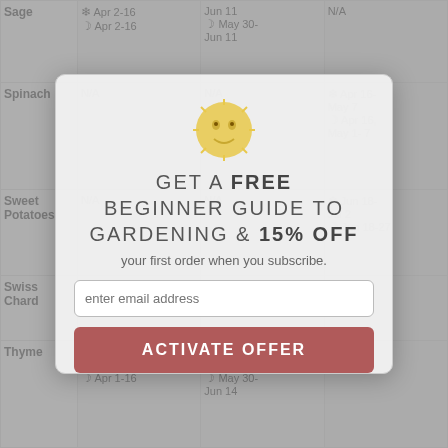| Plant | Indoor Start | Outdoor | Last Frost |
| --- | --- | --- | --- |
| Sage | ❄ Apr 2-16
☽ Apr 2-16 | Jun 11
☽ May 30-
Jun 11 | N/A |
| Spinach | N/A | N/A | ❄ Apr 16-
May 7
☽ Apr 16,
May 1-7 |
| Sweet Potatoes | N/A | N/A | ❄ Jun 18-
Jul 2
☽ Jun 18-27 |
| Swiss Chard | ❄ Apr 16-30
☽ Apr 16- | ❄ May 7-14
☽ May 7-14 | N/A |
| Thyme | ❄ Mar 19-
Apr 1-16
☽ Apr 1-16 | ❄ May 28-
Jun 18
☽ May 30-
Jun 14 | N/A |
[Figure (infographic): Promotional modal overlay with sun/moon logo, text 'GET A FREE BEGINNER GUIDE TO GARDENING & 15% OFF your first order when you subscribe.', email input field, and ACTIVATE OFFER button]
GET A FREE BEGINNER GUIDE TO GARDENING & 15% OFF your first order when you subscribe.
enter email address
ACTIVATE OFFER